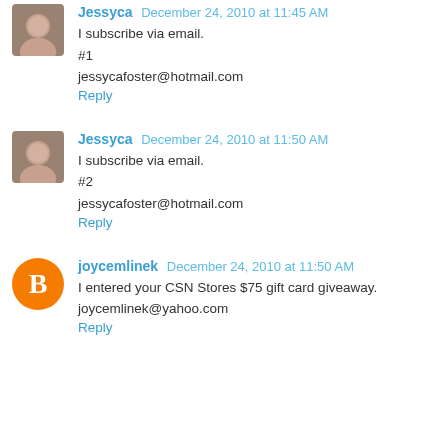Jessyca December 24, 2010 at 11:45 AM
I subscribe via email.
#1
jessycafoster@hotmail.com
Reply
Jessyca December 24, 2010 at 11:50 AM
I subscribe via email.
#2
jessycafoster@hotmail.com
Reply
joycemlinek December 24, 2010 at 11:50 AM
I entered your CSN Stores $75 gift card giveaway.
joycemlinek@yahoo.com
Reply